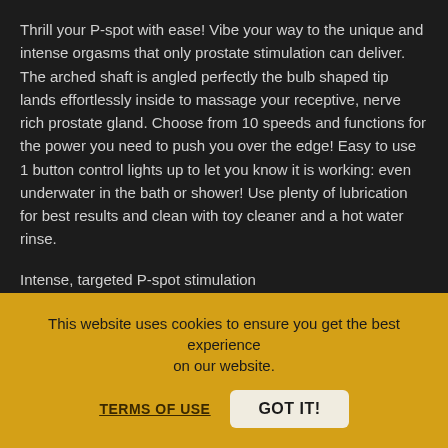Thrill your P-spot with ease! Vibe your way to the unique and intense orgasms that only prostate stimulation can deliver. The arched shaft is angled perfectly the bulb shaped tip lands effortlessly inside to massage your receptive, nerve rich prostate gland. Choose from 10 speeds and functions for the power you need to push you over the edge! Easy to use 1 button control lights up to let you know it is working: even underwater in the bath or shower! Use plenty of lubrication for best results and clean with toy cleaner and a hot water rinse.
Intense, targeted P-spot stimulation
10 powerful vibrating speeds and functions
Vibrating bulb shaped tip reaches prostate with ease
This website uses cookies to ensure you get the best experience on our website.
TERMS OF USE
GOT IT!